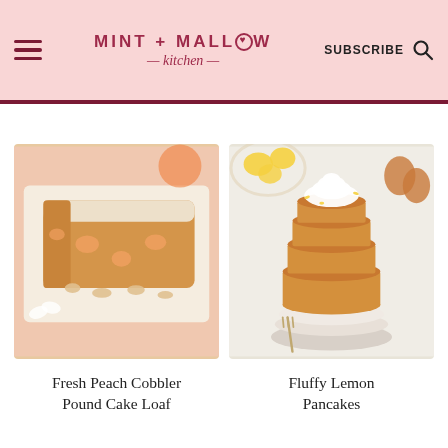MINT + MALLOW kitchen — SUBSCRIBE
[Figure (photo): Photo of sliced Fresh Peach Cobbler Pound Cake Loaf dusted with powdered sugar on a white plate, with peach pieces and floral decoration on a pink background]
Fresh Peach Cobbler Pound Cake Loaf
[Figure (photo): Photo of a tall stack of Fluffy Lemon Pancakes topped with whipped cream, on stacked white plates with a fork, lemons and eggs in background]
Fluffy Lemon Pancakes